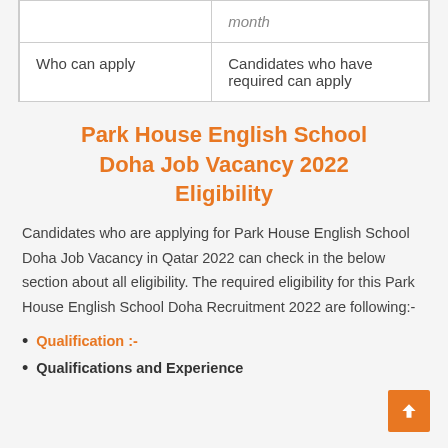|  | month |
| Who can apply | Candidates who have required can apply |
Park House English School Doha Job Vacancy 2022 Eligibility
Candidates who are applying for Park House English School Doha Job Vacancy in Qatar 2022 can check in the below section about all eligibility. The required eligibility for this Park House English School Doha Recruitment 2022 are following:-
Qualification :-
Qualifications and Experience